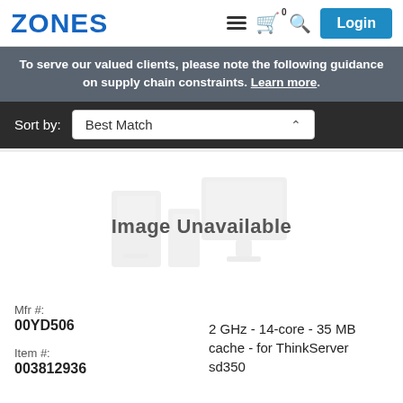ZONES
To serve our valued clients, please note the following guidance on supply chain constraints. Learn more.
Sort by: Best Match
[Figure (illustration): Image Unavailable placeholder graphic showing silhouettes of desktop computers and monitors]
Mfr #:
00YD506
2 GHz - 14-core - 35 MB cache - for ThinkServer sd350
Item #:
003812936